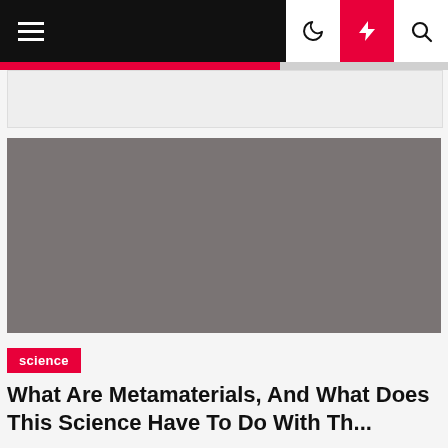Navigation bar with hamburger menu, moon icon, lightning icon, search icon
[Figure (photo): Gray placeholder image for article about metamaterials]
science
What Are Metamaterials, And What Does This Science Have To Do With Th...